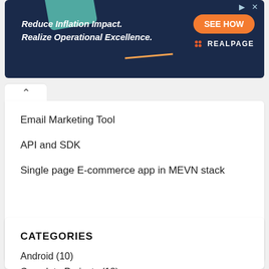[Figure (other): Advertisement banner for RealPage: 'Reduce Inflation Impact. Realize Operational Excellence.' with a 'SEE HOW' orange button and RealPage logo]
Email Marketing Tool
API and SDK
Single page E-commerce app in MEVN stack
CATEGORIES
Android (10)
Complete Projects (18)